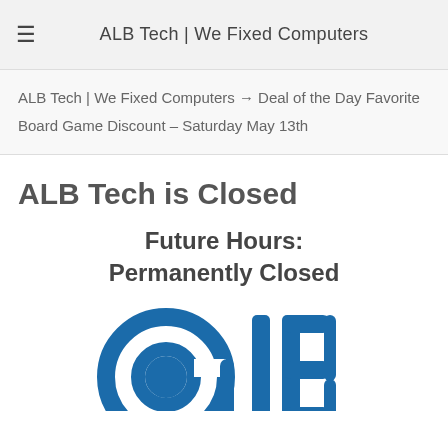ALB Tech | We Fixed Computers
ALB Tech | We Fixed Computers → Deal of the Day Favorite Board Game Discount – Saturday May 13th
ALB Tech is Closed
Future Hours:
Permanently Closed
[Figure (logo): @alb logo in blue with stylized @ symbol and letters a l b]